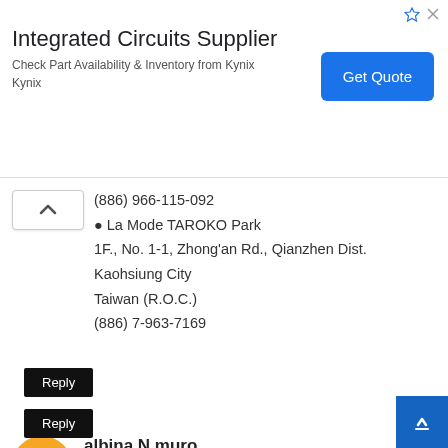[Figure (screenshot): Advertisement banner for Integrated Circuits Supplier by Kynix with Get Quote button]
(886) 966-115-092
● La Mode TAROKO Park
1F., No. 1-1, Zhong'an Rd., Qianzhen Dist.
Kaohsiung City
Taiwan (R.O.C.)
(886) 7-963-7169
Reply
albina N muro
December 10, 2020 at 11:53 PM
I would like to thank you for the efforts you have made in writing this article. I am hoping the same best work from you in the future as well. Thanks... totshoes.com
Reply